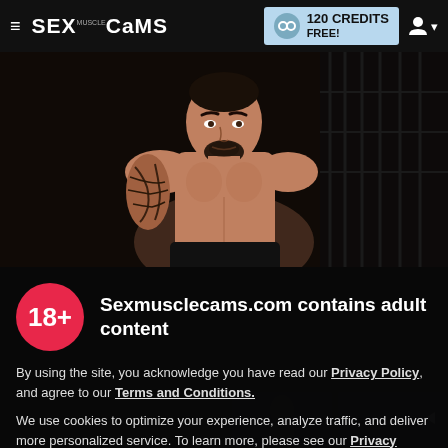≡ SEX MUSCLE CAMS | 120 CREDITS FREE!
[Figure (photo): Shirtless tattooed man posing against dark background]
Sexmusclecams.com contains adult content
By using the site, you acknowledge you have read our Privacy Policy, and agree to our Terms and Conditions.
We use cookies to optimize your experience, analyze traffic, and deliver more personalized service. To learn more, please see our Privacy Policy.
I AGREE